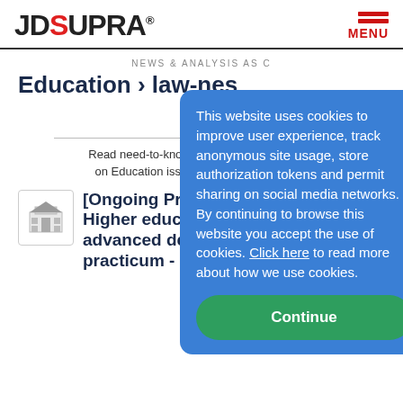JD SUPRA® MENU
NEWS & ANALYSIS AS C…
Education › law-ne…
+ Follow
Read need-to-know updates, … sis on Education issues written … s.
[Figure (screenshot): Small thumbnail icon of a building/institution]
[Ongoing Progra… Higher educatio… advanced decisi… practicum - October 11th - 12th,
This website uses cookies to improve user experience, track anonymous site usage, store authorization tokens and permit sharing on social media networks. By continuing to browse this website you accept the use of cookies. Click here to read more about how we use cookies.
Continue